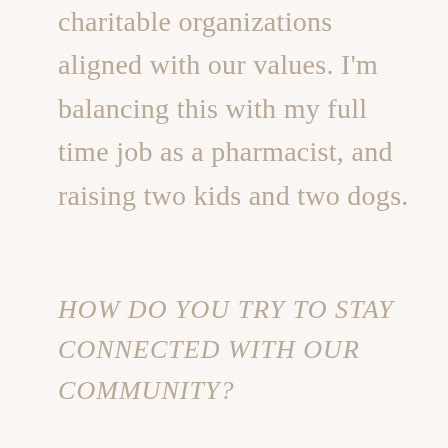charitable organizations aligned with our values. I'm balancing this with my full time job as a pharmacist, and raising two kids and two dogs.
HOW DO YOU TRY TO STAY CONNECTED WITH OUR COMMUNITY?